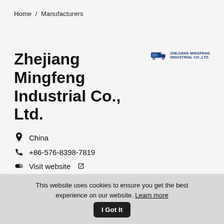Home / Manufacturers
Zhejiang Mingfeng Industrial Co., Ltd.
[Figure (logo): Zhejiang Mingfeng Industrial Co., Ltd. logo with truck icon and company name in blue text]
China
+86-576-8398-7819
Visit website
Send inquiry
This website uses cookies to ensure you get the best experience on our website. Learn more | I Got It